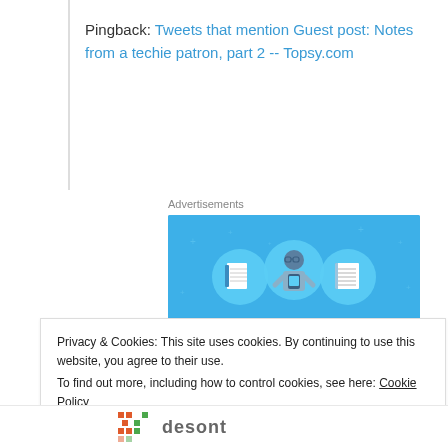Pingback: Tweets that mention Guest post: Notes from a techie patron, part 2 -- Topsy.com
Advertisements
[Figure (illustration): Day One journaling app advertisement banner on blue background with illustrated person holding phone, notebook icons, and text 'DAY ONE - The only journaling app you'll ever need. Get the app']
Privacy & Cookies: This site uses cookies. By continuing to use this website, you agree to their use.
To find out more, including how to control cookies, see here: Cookie Policy
Close and accept
desont